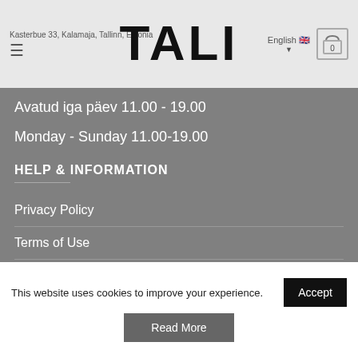Kasterbue 33, Kalamaja, Tallinn, Estonia | TALI | English | 0
Avatud iga päev 11.00 - 19.00
Monday - Sunday 11.00-19.00
HELP & INFORMATION
Privacy Policy
Terms of Use
Delivery & Returns
Payments
This website uses cookies to improve your experience.
Accept
Read More